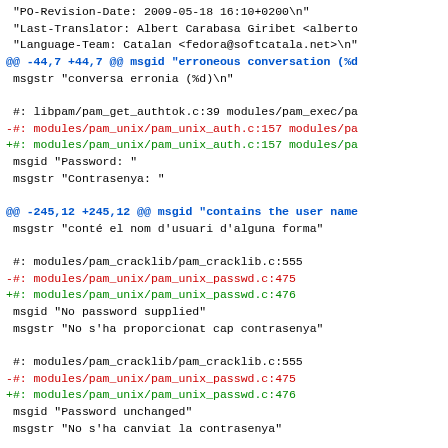Diff/patch output showing changes to a .po translation file for Catalan (ca) locale in Linux-PAM, with added/removed source file references and translation strings.